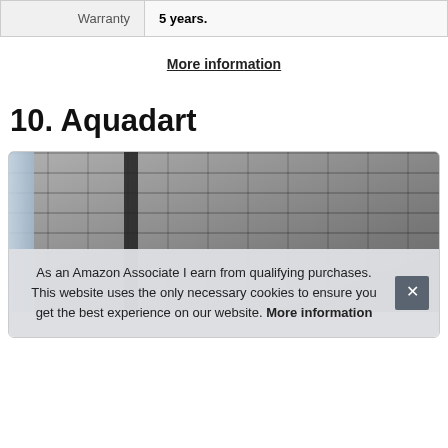| Warranty | 5 years. |
More information
10. Aquadart
[Figure (photo): Product photo of what appears to be a shower enclosure or door against a brick wall background, partially obscured by a cookie consent banner.]
As an Amazon Associate I earn from qualifying purchases. This website uses the only necessary cookies to ensure you get the best experience on our website. More information